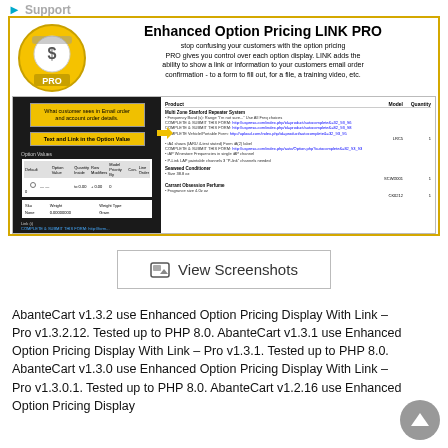Support
[Figure (screenshot): Enhanced Option Pricing LINK PRO promotional banner showing product logo, description, and a screenshot of admin/customer views with option pricing and link functionality.]
[Figure (other): View Screenshots button with image icon]
AbanteCart v1.3.2 use Enhanced Option Pricing Display With Link – Pro v1.3.2.12. Tested up to PHP 8.0. AbanteCart v1.3.1 use Enhanced Option Pricing Display With Link – Pro v1.3.1. Tested up to PHP 8.0. AbanteCart v1.3.0 use Enhanced Option Pricing Display With Link – Pro v1.3.0.1. Tested up to PHP 8.0. AbanteCart v1.2.16 use Enhanced Option Pricing Display